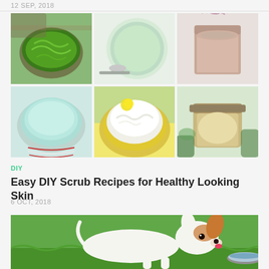12 SEP, 2018
[Figure (photo): 3x2 grid of 6 DIY scrub recipe photos showing various bowls and jars of homemade scrubs]
DIY
Easy DIY Scrub Recipes for Healthy Looking Skin
6 OCT, 2018
[Figure (photo): Photo of a small Chihuahua dog drinking from a silver bowl on green grass]